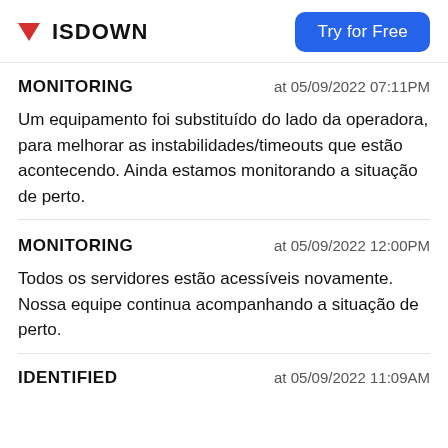ISDOWN | Try for Free
MONITORING   at 05/09/2022 07:11PM
Um equipamento foi substituído do lado da operadora, para melhorar as instabilidades/timeouts que estão acontecendo. Ainda estamos monitorando a situação de perto.
MONITORING   at 05/09/2022 12:00PM
Todos os servidores estão acessíveis novamente. Nossa equipe continua acompanhando a situação de perto.
IDENTIFIED   at 05/09/2022 11:09AM